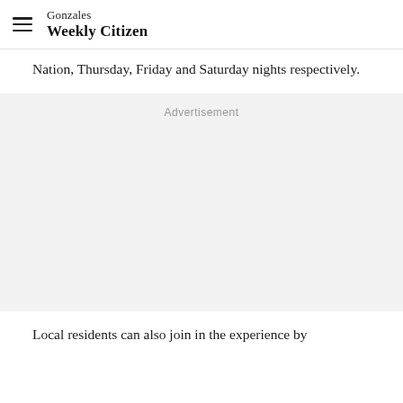Gonzales Weekly Citizen
Nation, Thursday, Friday and Saturday nights respectively.
[Figure (other): Advertisement placeholder block with light gray background and 'Advertisement' label at top center]
Local residents can also join in the experience by